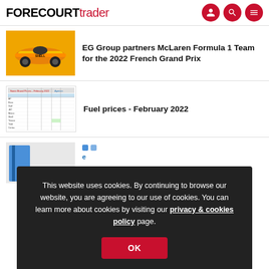FORECOURTtrader
EG Group partners McLaren Formula 1 Team for the 2022 French Grand Prix
Fuel prices - February 2022
This website uses cookies. By continuing to browse our website, you are agreeing to our use of cookies. You can learn more about cookies by visiting our privacy & cookies policy page.